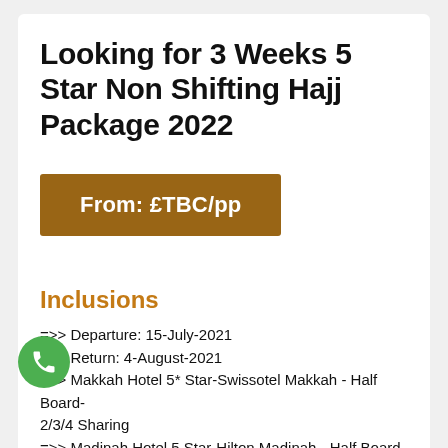Looking for 3 Weeks 5 Star Non Shifting Hajj Package 2022
From: £TBC/pp
Inclusions
=>> Departure: 15-July-2021
=>> Return: 4-August-2021
=>> Makkah Hotel 5* Star-Swissotel Makkah - Half Board- 2/3/4 Sharing
=>> Madinah Hotel 5 Star-Hilton Madinah - Half Board- 2/3/4 Sharing